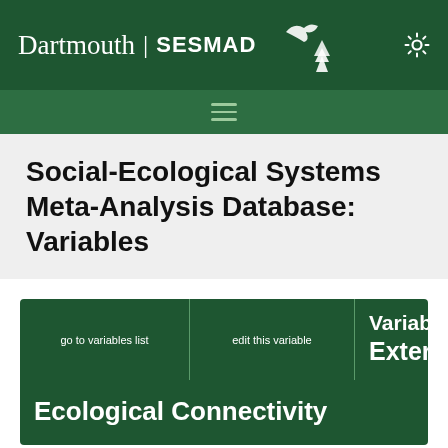Dartmouth | SESMAD
Social-Ecological Systems Meta-Analysis Database: Variables
Variable: External Ecological Connectivity
go to variables list | edit this variable
| Variable Type |  |
| --- | --- |
| Variable Type | Ordinal |